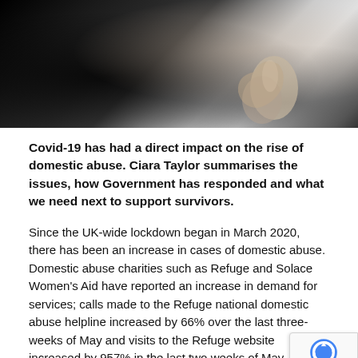[Figure (photo): Black and white close-up photograph of a person, partially visible, dark/moody lighting]
Covid-19 has had a direct impact on the rise of domestic abuse. Ciara Taylor summarises the issues, how Government has responded and what we need next to support survivors.
Since the UK-wide lockdown began in March 2020, there has been an increase in cases of domestic abuse. Domestic abuse charities such as Refuge and Solace Women's Aid have reported an increase in demand for services; calls made to the Refuge national domestic abuse helpline increased by 66% over the last three weeks of May and visits to the Refuge website increased by 957% in the last two weeks of May. The rate of domestic